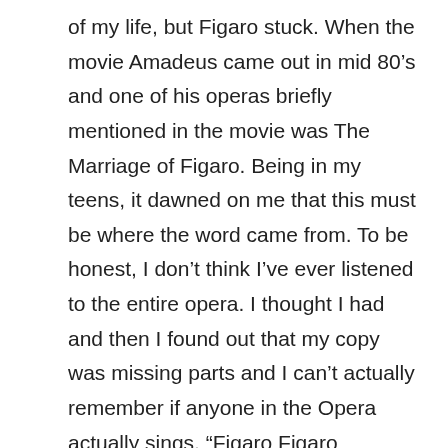of my life, but Figaro stuck. When the movie Amadeus came out in mid 80’s and one of his operas briefly mentioned in the movie was The Marriage of Figaro. Being in my teens, it dawned on me that this must be where the word came from. To be honest, I don’t think I’ve ever listened to the entire opera. I thought I had and then I found out that my copy was missing parts and I can’t actually remember if anyone in the Opera actually sings, “Figaro Figaro Figaaaroooo”, but it was no longer a meaningless word. It was name. It was a person.
[Read more…]